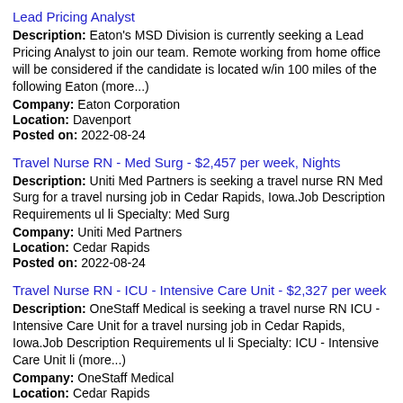Lead Pricing Analyst
Description: Eaton's MSD Division is currently seeking a Lead Pricing Analyst to join our team. Remote working from home office will be considered if the candidate is located w/in 100 miles of the following Eaton (more...)
Company: Eaton Corporation
Location: Davenport
Posted on: 2022-08-24
Travel Nurse RN - Med Surg - $2,457 per week, Nights
Description: Uniti Med Partners is seeking a travel nurse RN Med Surg for a travel nursing job in Cedar Rapids, Iowa.Job Description Requirements ul li Specialty: Med Surg
Company: Uniti Med Partners
Location: Cedar Rapids
Posted on: 2022-08-24
Travel Nurse RN - ICU - Intensive Care Unit - $2,327 per week
Description: OneStaff Medical is seeking a travel nurse RN ICU - Intensive Care Unit for a travel nursing job in Cedar Rapids, Iowa.Job Description Requirements ul li Specialty: ICU - Intensive Care Unit li (more...)
Company: OneStaff Medical
Location: Cedar Rapids
Posted on: 2022-08-24